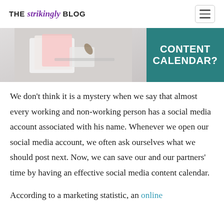THE strikingly BLOG
[Figure (photo): Banner image showing a desk with notebooks and accessories on the left, and a teal/dark green panel on the right with white bold text reading 'CONTENT CALENDAR?']
We don't think it is a mystery when we say that almost every working and non-working person has a social media account associated with his name. Whenever we open our social media account, we often ask ourselves what we should post next. Now, we can save our and our partners' time by having an effective social media content calendar.
According to a marketing statistic, an online